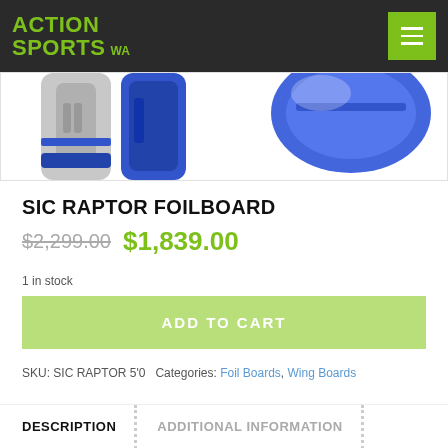ACTION SPORTS WA
[Figure (photo): Partial view of SIC Raptor Foilboard product images showing fins/boards in grey and blue]
SIC RAPTOR FOILBOARD
$2,299.00 $1,839.00
1 in stock
ADD TO CART
SKU: SIC RAPTOR 5'0  Categories: Foil Boards, Wing Boards
DESCRIPTION
ADDITIONAL INFORMATION